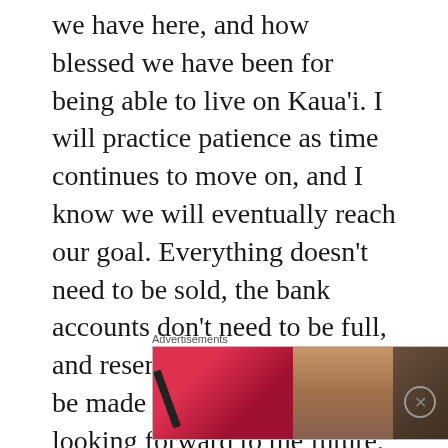we have here, and how blessed we have been for being able to live on Kaua'i. I will practice patience as time continues to move on, and I know we will eventually reach our goal. Everything doesn't need to be sold, the bank accounts don't need to be full, and reservations don't need to be made right now. I'm looking forward to the future, but want to go forward feeling more grateful and positive about having
[Figure (screenshot): Advertisement banner showing Ulta Beauty makeup ad with lip gloss, makeup brush, eye close-up, Ulta Beauty logo, eye makeup close-up, and SHOP NOW button]